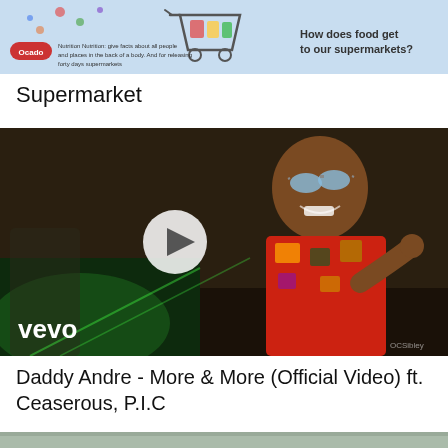[Figure (illustration): Supermarket infographic illustration showing a shopping cart with food items, light blue background. Text reads 'How does food get to our supermarkets?']
Supermarket
[Figure (screenshot): Vevo music video thumbnail showing a man in colorful patterned shirt wearing reflective sunglasses, smiling. A white play button circle is overlaid in the center. The word 'vevo' appears in the bottom left corner in white bold text. Background shows green lighting and a second person.]
Daddy Andre - More & More (Official Video) ft. Ceaserous, P.I.C
[Figure (photo): Bottom partial image, partially visible, appears to be another video thumbnail.]